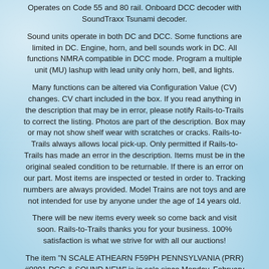Operates on Code 55 and 80 rail. Onboard DCC decoder with SoundTraxx Tsunami decoder.
Sound units operate in both DC and DCC. Some functions are limited in DC. Engine, horn, and bell sounds work in DC. All functions NMRA compatible in DCC mode. Program a multiple unit (MU) lashup with lead unity only horn, bell, and lights.
Many functions can be altered via Configuration Value (CV) changes. CV chart included in the box. If you read anything in the description that may be in error, please notify Rails-to-Trails to correct the listing. Photos are part of the description. Box may or may not show shelf wear with scratches or cracks. Rails-to-Trails always allows local pick-up. Only permitted if Rails-to-Trails has made an error in the description. Items must be in the original sealed condition to be returnable. If there is an error on our part. Most items are inspected or tested in order to. Tracking numbers are always provided. Model Trains are not toys and are not intended for use by anyone under the age of 14 years old.
There will be new items every week so come back and visit soon. Rails-to-Trails thanks you for your business. 100% satisfaction is what we strive for with all our auctions!
The item "N SCALE ATHEARN F59PH PENNSYLVANIA (PRR) #9891 DCC & SOUND NEW" is in sale since Monday, February 4, 2019. This item is in the category "Toys & Hobbies\Model Railroads & Trains\N Scale\Locomotives".
The seller is "rails-to-trails" and is located in Monaca, Pennsylvania. This item can be shipped to United States, Canada, United Kingdom, Denmark, Romania, Slovakia, Bulgaria, Czech republic, Finland, Hungary, Latvia, Lithuania, Malta, Estonia, Australia,